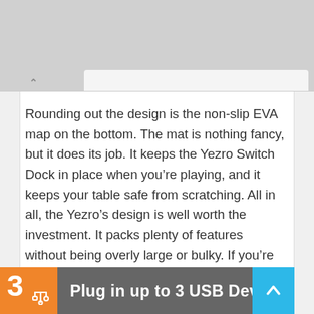[Figure (screenshot): Browser chrome top area with tab and back button]
Rounding out the design is the non-slip EVA map on the bottom. The mat is nothing fancy, but it does its job. It keeps the Yezro Switch Dock in place when you're playing, and it keeps your table safe from scratching. All in all, the Yezro's design is well worth the investment. It packs plenty of features without being overly large or bulky. If you're looking for a slim form factor at a reasonable price, it's a solid choice.
[Figure (infographic): Feature callout banner: orange box with number 3 and USB icon, gray banner reading 'Plug in up to 3 USB Devices', blue scroll-up button]